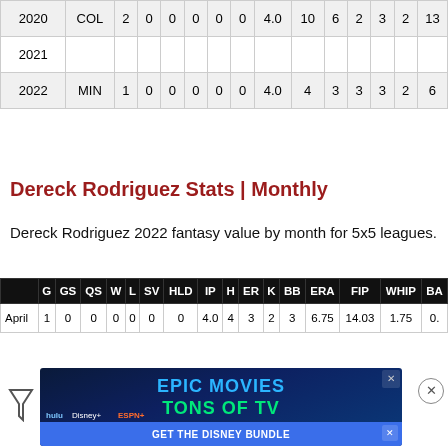|  | G | GS | QS | W | L | SV | HLD | IP | H | ER | K | BB | ERA | FIP | WHIP | BA... |
| --- | --- | --- | --- | --- | --- | --- | --- | --- | --- | --- | --- | --- | --- | --- | --- | --- |
| 2020 | COL | 2 | 0 | 0 | 0 | 0 | 0 | 0 | 4.0 | 10 | 6 | 2 | 3 | 2 | 13... |
| 2021 |  |  |  |  |  |  |  |  |  |  |  |  |  |  |  |
| 2022 | MIN | 1 | 0 | 0 | 0 | 0 | 0 | 0 | 4.0 | 4 | 3 | 3 | 3 | 2 | 6... |
Dereck Rodriguez Stats | Monthly
Dereck Rodriguez 2022 fantasy value by month for 5x5 leagues.
|  | G | GS | QS | W | L | SV | HLD | IP | H | ER | K | BB | ERA | FIP | WHIP | BA... |
| --- | --- | --- | --- | --- | --- | --- | --- | --- | --- | --- | --- | --- | --- | --- | --- | --- |
| April | 1 | 0 | 0 | 0 | 0 | 0 | 0 | 4.0 | 4 | 3 | 2 | 3 | 6.75 | 14.03 | 1.75 | 0.... |
[Figure (other): Advertisement banner for Disney Bundle featuring Hulu, Disney+, and ESPN+. Text reads 'EPIC MOVIES TONS OF TV' with 'GET THE DISNEY BUNDLE' call to action button.]